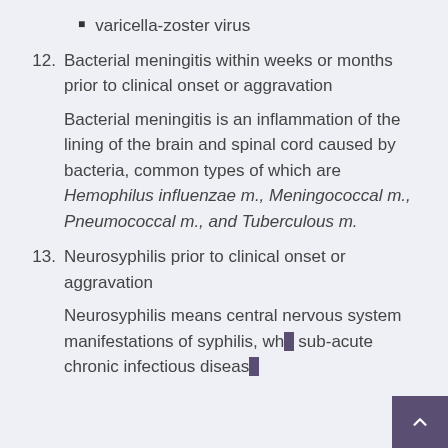varicella-zoster virus
12. Bacterial meningitis within weeks or months prior to clinical onset or aggravation
Bacterial meningitis is an inflammation of the lining of the brain and spinal cord caused by bacteria, common types of which are Hemophilus influenzae m., Meningococcal m., Pneumococcal m., and Tuberculous m.
13. Neurosyphilis prior to clinical onset or aggravation
Neurosyphilis means central nervous system manifestations of syphilis, wh... sub-acute chronic infectious diseas...